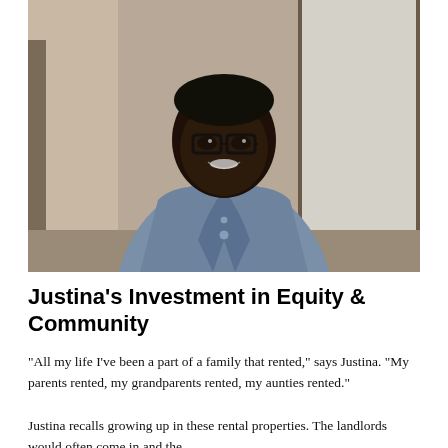[Figure (photo): A smiling young Black woman wearing glasses, a yellow sweater, and a denim jacket, standing indoors near a frosted window.]
Justina's Investment in Equity & Community
“All my life I’ve been a part of a family that rented,” says Justina. “My parents rented, my grandparents rented, my aunties rented.”
Justina recalls growing up in these rental properties. They landlords would often come i and the